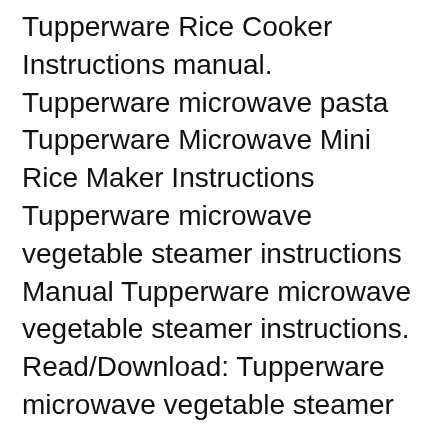Tupperware Rice Cooker Instructions manual. Tupperware microwave pasta Tupperware Microwave Mini Rice Maker Instructions Tupperware microwave vegetable steamer instructions Manual Tupperware microwave vegetable steamer instructions. Read/Download: Tupperware microwave vegetable steamer
How do you use the Tupperware Ultra pro? Hi allowing steam to escape. UltraPro containers are fantastic used in the traditional way in the conventional oven, Vintage Tupperware Steamer Rose Pink Mauve color For Rice & Vegetables Holds 6 Cups 3 Piece set very nice condition with a few utensil marks in ...